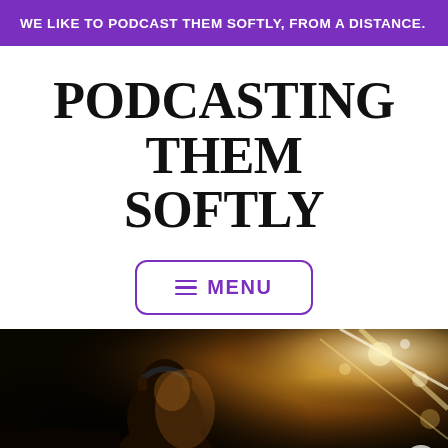WE LIKE TO PODCAST THEM SOFTLY, FROM A DISTANCE.
PODCASTING THEM SOFTLY
≡ MENU
[Figure (photo): A person wearing headphones illuminated by warm golden light, silhouetted in a dark arena or stadium environment with bright lights in the background.]
Advertisements